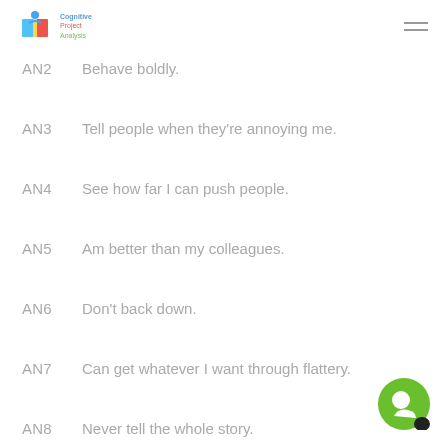Cognitive Project Analysis logo and hamburger menu
AN2   Behave boldly.
AN3   Tell people when they're annoying me.
AN4   See how far I can push people.
AN5   Am better than my colleagues.
AN6   Don't back down.
AN7   Can get whatever I want through flattery.
AN8   Never tell the whole story.